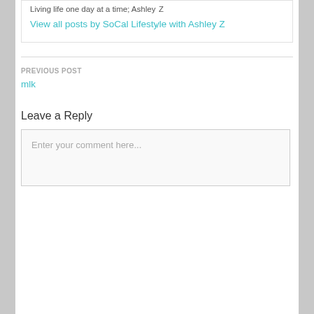Living life one day at a time; Ashley Z
View all posts by SoCal Lifestyle with Ashley Z
PREVIOUS POST
mlk
Leave a Reply
Enter your comment here...